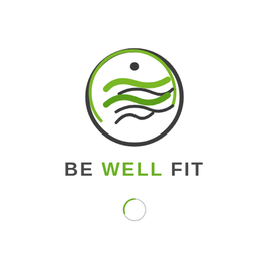[Figure (logo): Be Well Fit logo: a circular emblem with dark grey outer ring, green swoosh/wave shapes forming a running figure with a small dark head, and the brand name BE WELL FIT below in bold sans-serif text with BE and FIT in dark grey and WELL in green. A small loading spinner circle appears below the brand name.]